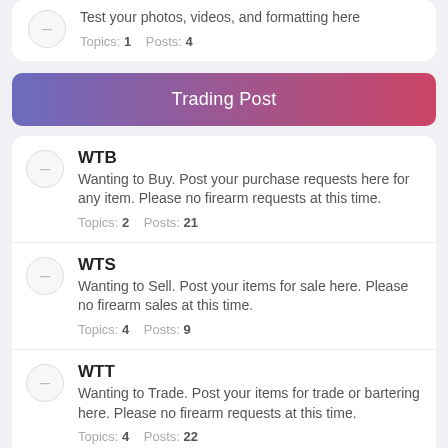Test your photos, videos, and formatting here
Topics: 1    Posts: 4
Trading Post
WTB
Wanting to Buy. Post your purchase requests here for any item. Please no firearm requests at this time.
Topics: 2    Posts: 21
WTS
Wanting to Sell. Post your items for sale here. Please no firearm sales at this time.
Topics: 4    Posts: 9
WTT
Wanting to Trade. Post your items for trade or bartering here. Please no firearm requests at this time.
Topics: 4    Posts: 22